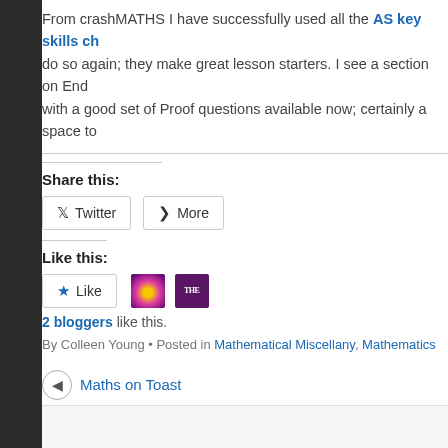From crashMATHS I have successfully used all the AS key skills ch do so again; they make great lesson starters. I see a section on End with a good set of Proof questions available now; certainly a space to
Share this:
Twitter   More
Like this:
Like
2 bloggers like this.
By Colleen Young • Posted in Mathematical Miscellany, Mathematics
◄ Maths on Toast